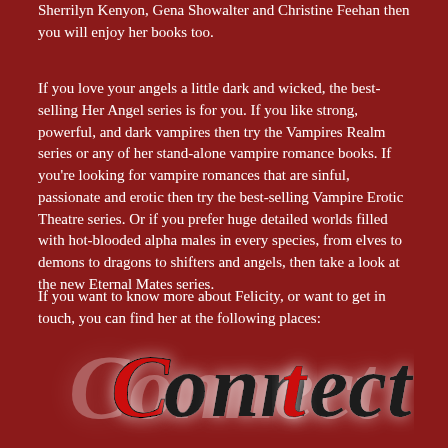Sherrilyn Kenyon, Gena Showalter and Christine Feehan then you will enjoy her books too.
If you love your angels a little dark and wicked, the best-selling Her Angel series is for you. If you like strong, powerful, and dark vampires then try the Vampires Realm series or any of her stand-alone vampire romance books. If you're looking for vampire romances that are sinful, passionate and erotic then try the best-selling Vampire Erotic Theatre series. Or if you prefer huge detailed worlds filled with hot-blooded alpha males in every species, from elves to demons to dragons to shifters and angels, then take a look at the new Eternal Mates series.
If you want to know more about Felicity, or want to get in touch, you can find her at the following places:
[Figure (illustration): Stylized cursive text 'Connect' in dark/red colors with white glow effect on dark red background]